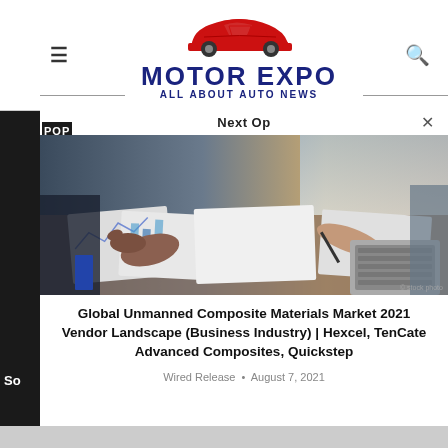[Figure (logo): Motor Expo - All About Auto News logo with red car silhouette and dark blue text]
Next Op
POP
[Figure (photo): Business meeting photo showing people reviewing charts and documents on a table with a laptop]
Global Unmanned Composite Materials Market 2021 Vendor Landscape (Business Industry) | Hexcel, TenCate Advanced Composites, Quickstep
Wired Release • August 7, 2021